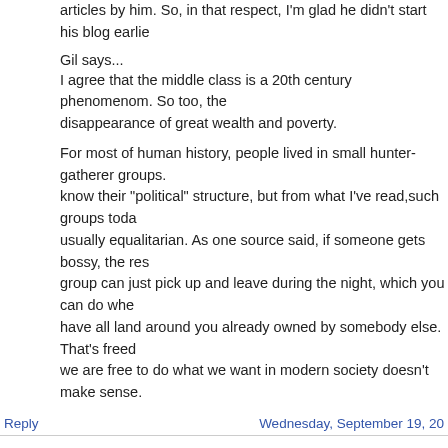articles by him. So, in that respect, I'm glad he didn't start his blog earlie
Gil says...
I agree that the middle class is a 20th century phenomenom. So too, the disappearance of great wealth and poverty.
For most of human history, people lived in small hunter-gatherer groups. know their "political" structure, but from what I've read,such groups toda usually equalitarian. As one source said, if someone gets bossy, the res group can just pick up and leave during the night, which you can do whe have all land around you already owned by somebody else. That's freed we are free to do what we want in modern society doesn't make sense.
Reply
Wednesday, September 19, 20
Bruce Webb said...
reason, I don't know what is going on with comments at the Krog. I was them a few minutes ago, and comments are enabled, but after reading y comment now they seem to have vanished with the comment count sho on all stories even while I still have some displaying out of my History.
I suspect Prof K may be rethinking his policy. There is simply no way to when you are as famous as he is, even if he wasn't a right wing target. T